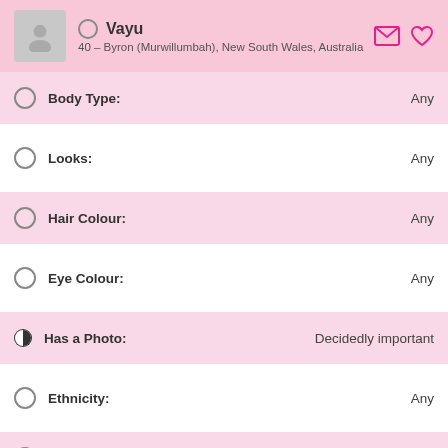Vayu
40 – Byron (Murwillumbah), New South Wales, Australia
Body Type: Any
Looks: Any
Hair Colour: Any
Eye Colour: Any
Has a Photo: Decidedly important
Ethnicity: Any
Home Language: Any
Other Languages: Any